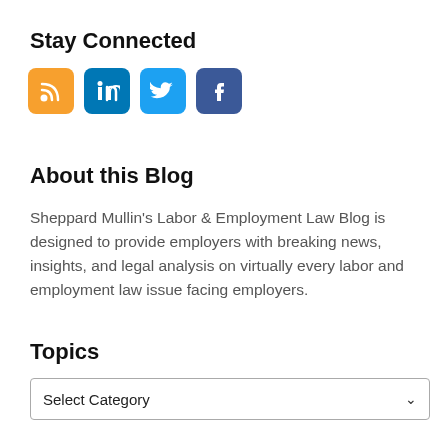Stay Connected
[Figure (illustration): Four social media icons: RSS (orange), LinkedIn (blue), Twitter (light blue), Facebook (dark blue)]
About this Blog
Sheppard Mullin’s Labor & Employment Law Blog is designed to provide employers with breaking news, insights, and legal analysis on virtually every labor and employment law issue facing employers.
Topics
Select Category